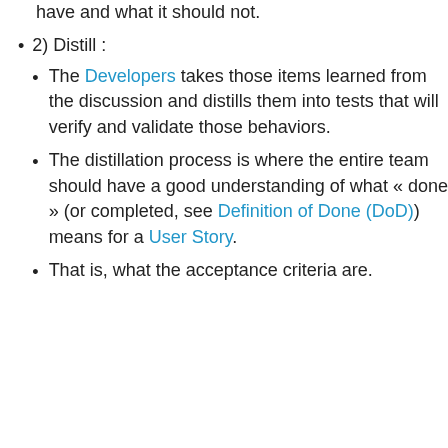have and what it should not.
2) Distill :
The Developers takes those items learned from the discussion and distills them into tests that will verify and validate those behaviors.
The distillation process is where the entire team should have a good understanding of what « done » (or completed, see Definition of Done (DoD)) means for a User Story.
That is, what the acceptance criteria are.